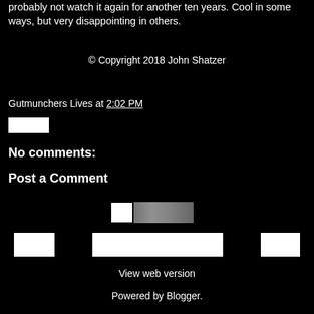probably not watch it again for another ten years. Cool in some ways, but very disappointing in others.
© Copyright 2018 John Shatzer
Gutmunchers Lives at 2:02 PM
[Figure (other): Small white button/UI element]
No comments:
Post a Comment
[Figure (screenshot): Comment form area with white rectangle and icon images]
[Figure (other): Row of UI buttons: left button, center text field, right button]
View web version
Powered by Blogger.